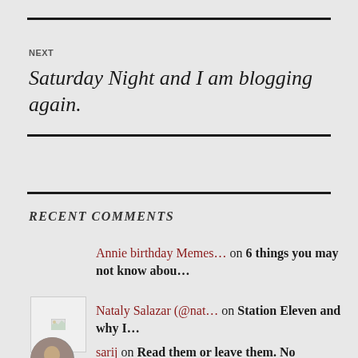NEXT
Saturday Night and I am blogging again.
RECENT COMMENTS
Annie birthday Memes… on 6 things you may not know abou…
Nataly Salazar (@nat… on Station Eleven and why I…
sarij on Read them or leave them. No